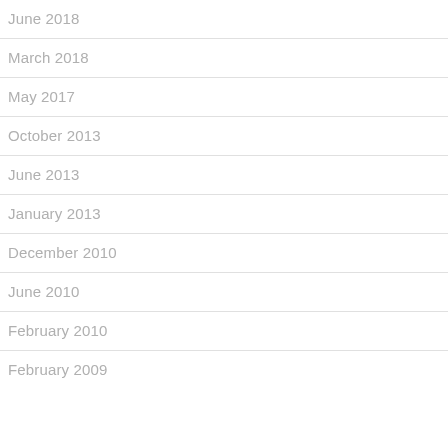June 2018
March 2018
May 2017
October 2013
June 2013
January 2013
December 2010
June 2010
February 2010
February 2009